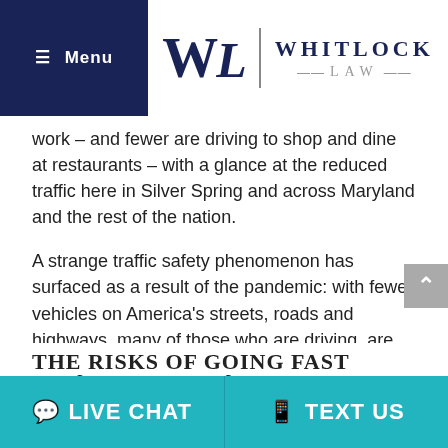Menu | WHITLOCK LAW
work – and fewer are driving to shop and dine at restaurants – with a glance at the reduced traffic here in Silver Spring and across Maryland and the rest of the nation.
A strange traffic safety phenomenon has surfaced as a result of the pandemic: with fewer vehicles on America's streets, roads and highways, many of those who are driving, are driving faster. In Washington DC, the National Highway Traffic Safety Administration says there was a 22 percent increase in speeds last year in select metro areas compared to speeds in 2019.
THE RISKS OF GOING FAST
LIVE CHAT | TEXT US